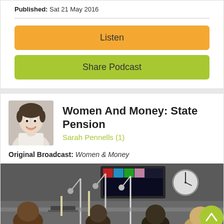Published: Sat 21 May 2016
Listen
Share Podcast
Women And Money: State Pension
Sarah Pennells (1)
Original Broadcast: Women & Money
[Figure (photo): Radio studio scene with people sitting around microphones, a clock on the wall, mixing equipment visible in background]